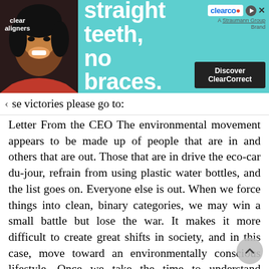[Figure (screenshot): Advertisement banner for ClearCorrect dental aligners. Teal background with text 'straight teeth, no braces.' and 'Discover ClearCorrect' button. Features a smiling woman with clear aligners branding.]
se victories please go to: Letter From the CEO The environmental movement appears to be made up of people that are in and others that are out. Those that are in drive the eco-car du-jour, refrain from using plastic water bottles, and the list goes on. Everyone else is out. When we force things into clean, binary categories, we may win a small battle but lose the war. It makes it more difficult to create great shifts in society, and in this case, move toward an environmentally conscious lifestyle. Once we take the time to understand something, we start to recognize the nuances. This came to me years ago as I found myself talking to a friend about a specific musical genre, and watching him shut down. Fans of Motorhead might dismiss Cline. Fans of the Yeah Yeah Yeahs might dismiss Fela. People with one particular music taste might dismiss all other genres of music with a phrase we ve all heard before, all pop/metal/country sounds the same. What people are saying is I ve never spent time really listening to pop/ metal/country. If they had, they would